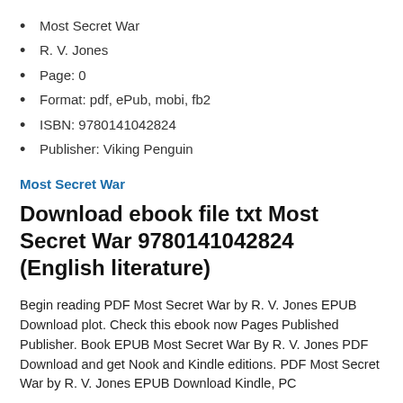Most Secret War
R. V. Jones
Page: 0
Format: pdf, ePub, mobi, fb2
ISBN: 9780141042824
Publisher: Viking Penguin
Most Secret War
Download ebook file txt Most Secret War 9780141042824 (English literature)
Begin reading PDF Most Secret War by R. V. Jones EPUB Download plot. Check this ebook now Pages Published Publisher. Book EPUB Most Secret War By R. V. Jones PDF Download and get Nook and Kindle editions. PDF Most Secret War by R. V. Jones EPUB Download Kindle, PC